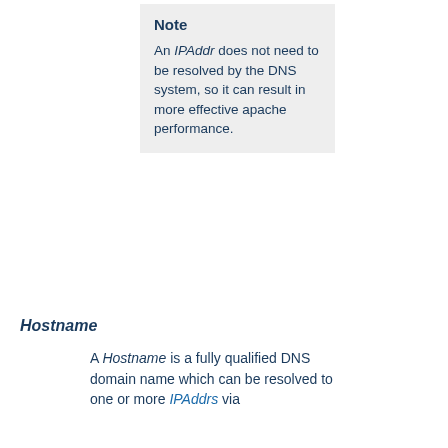Note
An IPAddr does not need to be resolved by the DNS system, so it can result in more effective apache performance.
Hostname
A Hostname is a fully qualified DNS domain name which can be resolved to one or more IPAddrs via